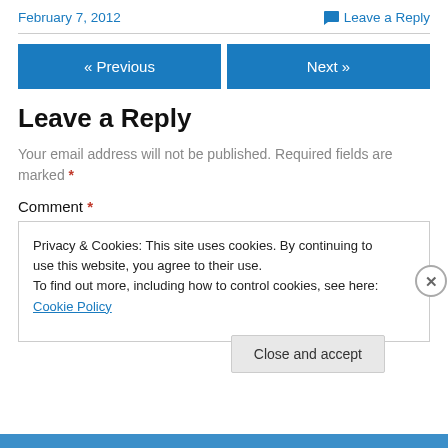February 7, 2012
Leave a Reply
« Previous
Next »
Leave a Reply
Your email address will not be published. Required fields are marked *
Comment *
Privacy & Cookies: This site uses cookies. By continuing to use this website, you agree to their use.
To find out more, including how to control cookies, see here: Cookie Policy
Close and accept